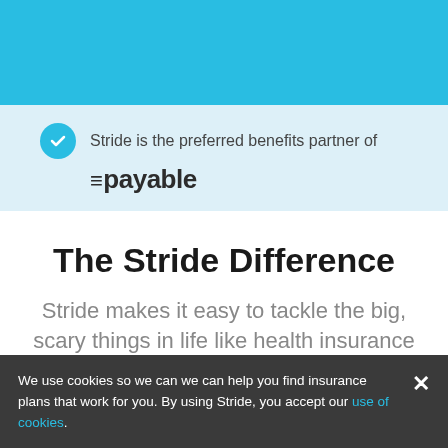[Figure (other): Cyan/blue top banner background strip]
Stride is the preferred benefits partner of
[Figure (logo): Payable logo with equals/stripe icon and bold text '=payable']
The Stride Difference
Stride makes it easy to tackle the big, scary things in life like health insurance and taxes. We help you save time and money so you can get back to working on the stuff that really
We use cookies so we can we can help you find insurance plans that work for you. By using Stride, you accept our use of cookies.